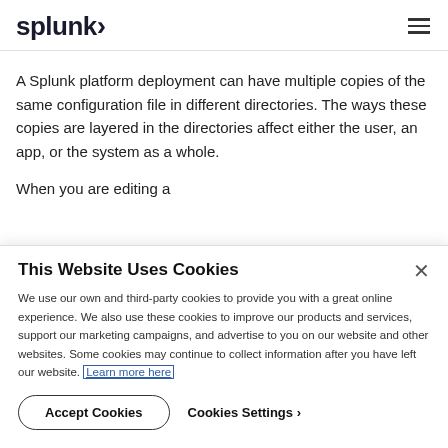splunk>
A Splunk platform deployment can have multiple copies of the same configuration file in different directories. The ways these copies are layered in the directories affect either the user, an app, or the system as a whole.
When you are editing a
This Website Uses Cookies
We use our own and third-party cookies to provide you with a great online experience. We also use these cookies to improve our products and services, support our marketing campaigns, and advertise to you on our website and other websites. Some cookies may continue to collect information after you have left our website. Learn more here
Accept Cookies   Cookies Settings ›